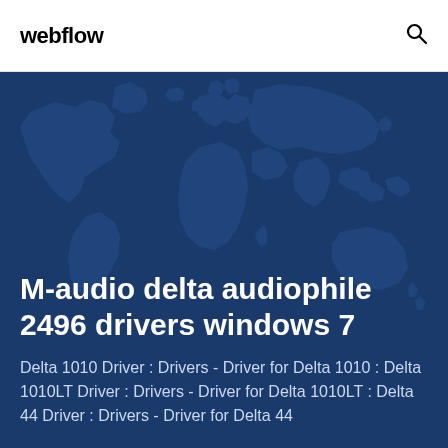webflow
M-audio delta audiophile 2496 drivers windows 7
Delta 1010 Driver : Drivers - Driver for Delta 1010 : Delta 1010LT Driver : Drivers - Driver for Delta 1010LT : Delta 44 Driver : Drivers - Driver for Delta 44